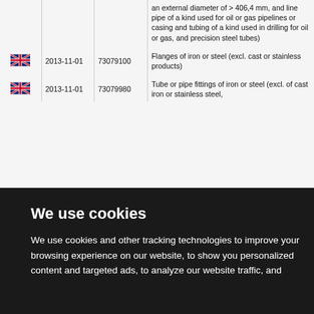|  | Date | Code | Description |
| --- | --- | --- | --- |
| UK |  |  | an external diameter of > 406,4 mm, and line pipe of a kind used for oil or gas pipelines or casing and tubing of a kind used in drilling for oil or gas, and precision steel tubes) |
| UK | 2013-11-01 | 73079100 | Flanges of iron or steel (excl. cast or stainless products) |
| UK | 2013-11-01 | 73079980 | Tube or pipe fittings of iron or steel (excl. of cast iron or stainless steel, |
We use cookies
We use cookies and other tracking technologies to improve your browsing experience on our website, to show you personalized content and targeted ads, to analyze our website traffic, and